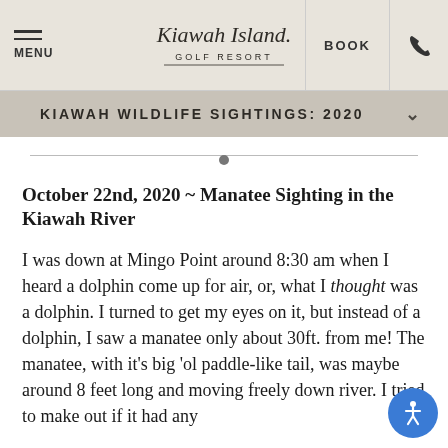MENU | Kiawah Island Golf Resort | BOOK | Phone
KIAWAH WILDLIFE SIGHTINGS: 2020
October 22nd, 2020 ~ Manatee Sighting in the Kiawah River
I was down at Mingo Point around 8:30 am when I heard a dolphin come up for air, or, what I thought was a dolphin. I turned to get my eyes on it, but instead of a dolphin, I saw a manatee only about 30ft. from me! The manatee, with it's big 'ol paddle-like tail, was maybe around 8 feet long and moving freely down river. I tried to make out if it had any